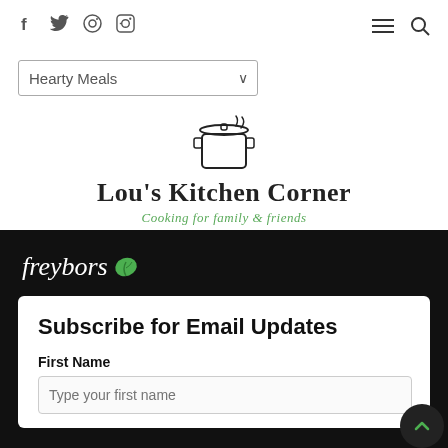Social icons: f, Twitter, Pinterest, Instagram | Hamburger menu | Search icon
[Figure (screenshot): Dropdown selector showing 'Hearty Meals' option with chevron]
[Figure (logo): Lou's Kitchen Corner logo with pot icon and subtitle 'Cooking for family & friends']
[Figure (logo): Freybors logo with leaf icon on black background]
Subscribe for Email Updates
First Name
Type your first name